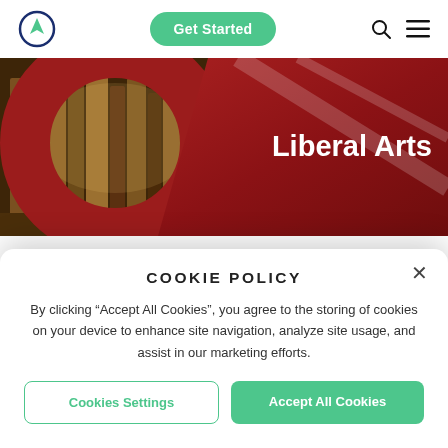[Figure (screenshot): Navigation bar with compass logo, green 'Get Started' button, search icon, and hamburger menu icon]
[Figure (photo): Hero banner with photo of old books on shelves on the left and dark red background with 'Liberal Arts' text on the right]
Liberal Arts
College FAQs
College List
College Major
COOKIE POLICY
By clicking “Accept All Cookies”, you agree to the storing of cookies on your device to enhance site navigation, analyze site usage, and assist in our marketing efforts.
Cookies Settings
Accept All Cookies